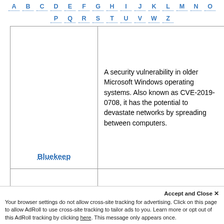[Figure (other): Alphabetical navigation bar with letters A-O on first row and P-Z on second row, each with dotted underline, styled in blue]
| Term | Definition |
| --- | --- |
| Bluekeep | A security vulnerability in older Microsoft Windows operating systems. Also known as CVE-2019-0708, it has the potential to devastate networks by spreading between computers. |
|  | A device used by British cryptologists to decipher German military communications during World War II, breaking the settings of the Germans' |
Accept and Close ×
Your browser settings do not allow cross-site tracking for advertising. Click on this page to allow AdRoll to use cross-site tracking to tailor ads to you. Learn more or opt out of this AdRoll tracking by clicking here. This message only appears once.